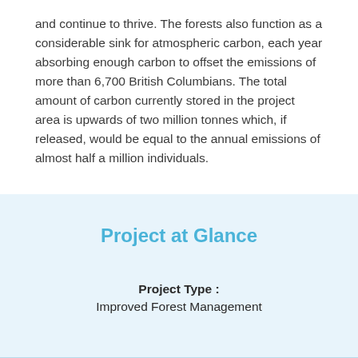and continue to thrive. The forests also function as a considerable sink for atmospheric carbon, each year absorbing enough carbon to offset the emissions of more than 6,700 British Columbians. The total amount of carbon currently stored in the project area is upwards of two million tonnes which, if released, would be equal to the annual emissions of almost half a million individuals.
Project at Glance
Project Type : Improved Forest Management